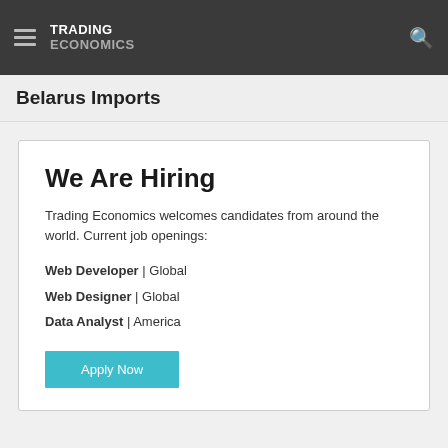TRADING ECONOMICS
Belarus Imports
We Are Hiring
Trading Economics welcomes candidates from around the world. Current job openings:
Web Developer | Global
Web Designer | Global
Data Analyst | America
Apply Now